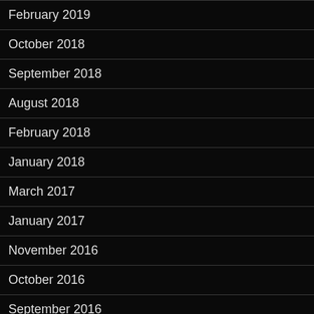February 2019
October 2018
September 2018
August 2018
February 2018
January 2018
March 2017
January 2017
November 2016
October 2016
September 2016
August 2016
June 2016